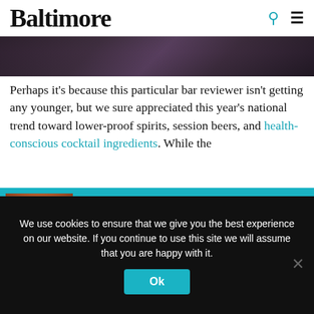Baltimore
[Figure (photo): Dark atmospheric bar interior photo strip]
Perhaps it’s because this particular bar reviewer isn’t getting any younger, but we sure appreciated this year’s national trend toward lower-proof spirits, session beers, and health-conscious cocktail ingredients. While the
[Figure (screenshot): Teal popup banner reading 'Wondering where to dine in Charm City?' with crab plate image and X close button]
We use cookies to ensure that we give you the best experience on our website. If you continue to use this site we will assume that you are happy with it.
Ok